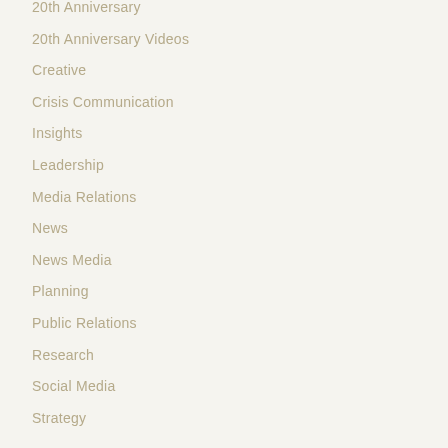20th Anniversary
20th Anniversary Videos
Creative
Crisis Communication
Insights
Leadership
Media Relations
News
News Media
Planning
Public Relations
Research
Social Media
Strategy